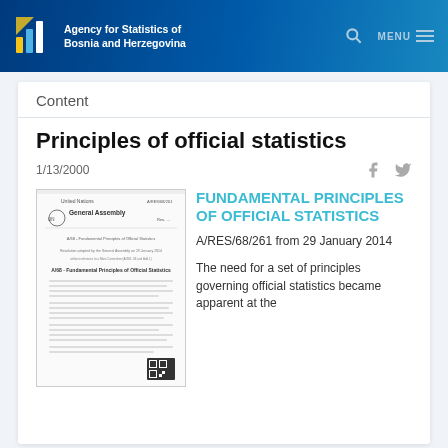Agency for Statistics of Bosnia and Herzegovina
Content
Principles of official statistics
1/13/2000
[Figure (photo): Thumbnail image of a UN General Assembly document titled Fundamental Principles of Official Statistics]
FUNDAMENTAL PRINCIPLES OF OFFICIAL STATISTICS
A/RES/68/261 from 29 January 2014
The need for a set of principles governing official statistics became apparent at the